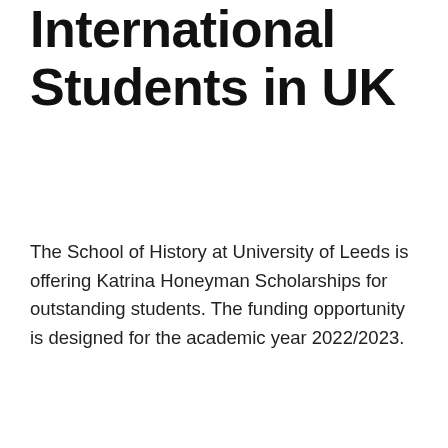International Students in UK
The School of History at University of Leeds is offering Katrina Honeyman Scholarships for outstanding students. The funding opportunity is designed for the academic year 2022/2023.